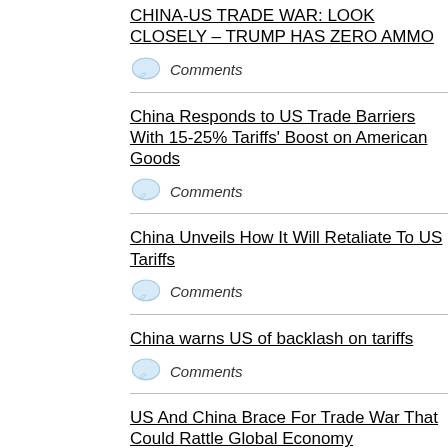CHINA-US TRADE WAR: LOOK CLOSELY – TRUMP HAS ZERO AMMO
Comments
China Responds to US Trade Barriers With 15-25% Tariffs' Boost on American Goods
Comments
China Unveils How It Will Retaliate To US Tariffs
Comments
China warns US of backlash on tariffs
Comments
US And China Brace For Trade War That Could Rattle Global Economy
Comments
China set to help rebuild Syria